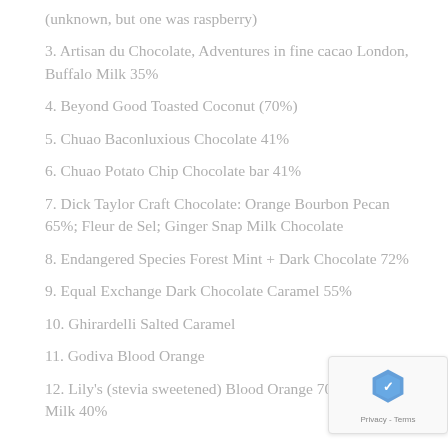(unknown, but one was raspberry)
3. Artisan du Chocolate, Adventures in fine cacao London, Buffalo Milk 35%
4. Beyond Good Toasted Coconut (70%)
5. Chuao Baconluxious Chocolate 41%
6. Chuao Potato Chip Chocolate bar 41%
7. Dick Taylor Craft Chocolate: Orange Bourbon Pecan 65%; Fleur de Sel; Ginger Snap Milk Chocolate
8. Endangered Species Forest Mint + Dark Chocolate 72%
9. Equal Exchange Dark Chocolate Caramel 55%
10. Ghirardelli Salted Caramel
11. Godiva Blood Orange
12. Lily's (stevia sweetened) Blood Orange 70%; Creamy Milk 40%